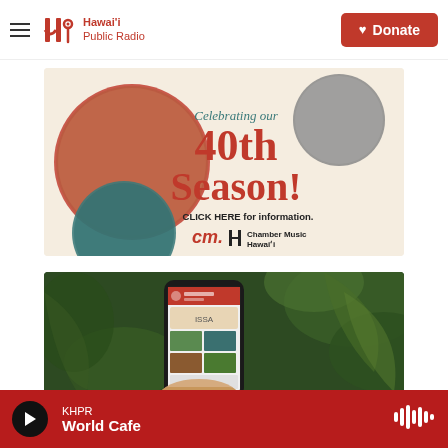Hawai'i Public Radio — Donate
[Figure (illustration): Chamber Music Hawai'i 40th Season advertisement banner on beige background with circular vintage photos and text: 'Celebrating our 40th Season! CLICK HERE for information. Chamber Music Hawai'i']
[Figure (photo): Photo of a hand holding a smartphone displaying the Hawai'i Public Radio app, with tropical green foliage in the background]
KHPR — World Cafe (player bar)